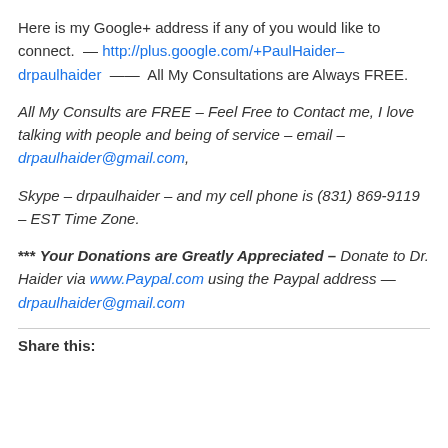Here is my Google+ address if any of you would like to connect.  — http://plus.google.com/+PaulHaider–drpaulhaider  —— All My Consultations are Always FREE.
All My Consults are FREE – Feel Free to Contact me, I love talking with people and being of service – email – drpaulhaider@gmail.com,
Skype – drpaulhaider – and my cell phone is (831) 869-9119 – EST Time Zone.
*** Your Donations are Greatly Appreciated – Donate to Dr. Haider via www.Paypal.com using the Paypal address — drpaulhaider@gmail.com
Share this: